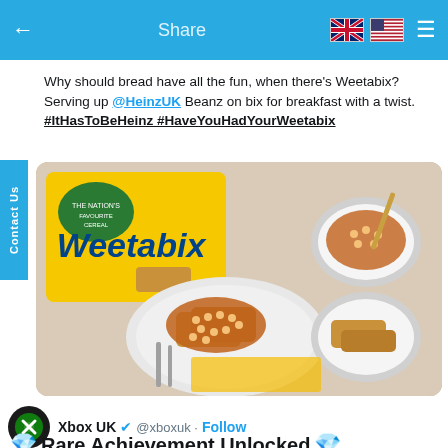← Share
Why should bread have all the fun, when there's Weetabix? Serving up @HeinzUK Beanz on bix for breakfast with a twist. #ItHasToBeHeinz #HaveYouHadYourWeetabix
[Figure (photo): Photo of Weetabix cereal box beside a plate with Weetabix biscuits topped with Heinz baked beans, and a bowl of baked beans with Weetabix pieces]
Xbox UK @xboxuk · Follow
💎 Rare Achievement Unlocked 💎